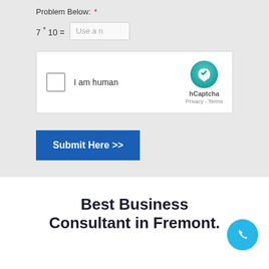Problem Below: *
[Figure (screenshot): hCaptcha widget with checkbox 'I am human' and hCaptcha logo with Privacy - Terms links]
Submit Here >>
Best Business Consultant in Fremont.